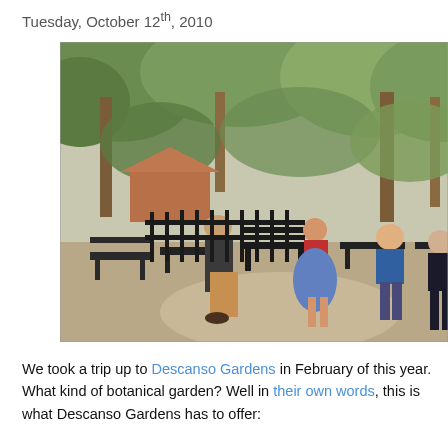Tuesday, October 12th, 2010
[Figure (photo): Outdoor scene at Descanso Gardens showing people sitting on dark wooden benches in a garden setting with trees and shrubs in the background. One person is walking away from the camera, a woman in a blue skirt sits on a bench, two men sit on benches to the right.]
We took a trip up to Descanso Gardens in February of this year. What kind of botanical garden? Well in their own words, this is what Descanso Gardens has to offer: